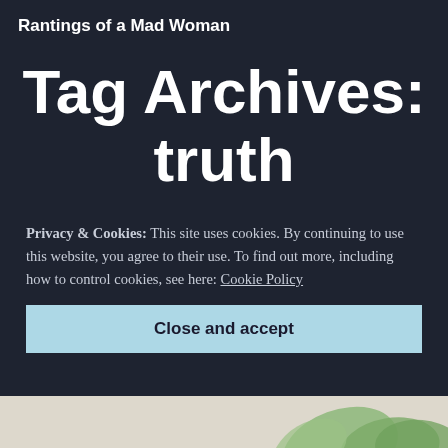Rantings of a Mad Woman
Tag Archives: truth
Privacy & Cookies: This site uses cookies. By continuing to use this website, you agree to their use. To find out more, including how to control cookies, see here: Cookie Policy
Close and accept
[Figure (photo): Bottom strip showing plant leaves on a light beige background]